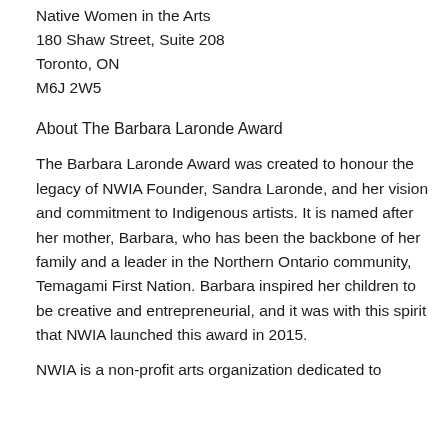Native Women in the Arts
180 Shaw Street, Suite 208
Toronto, ON
M6J 2W5
About The Barbara Laronde Award
The Barbara Laronde Award was created to honour the legacy of NWIA Founder, Sandra Laronde, and her vision and commitment to Indigenous artists. It is named after her mother, Barbara, who has been the backbone of her family and a leader in the Northern Ontario community, Temagami First Nation. Barbara inspired her children to be creative and entrepreneurial, and it was with this spirit that NWIA launched this award in 2015.
NWIA is a non-profit arts organization dedicated to